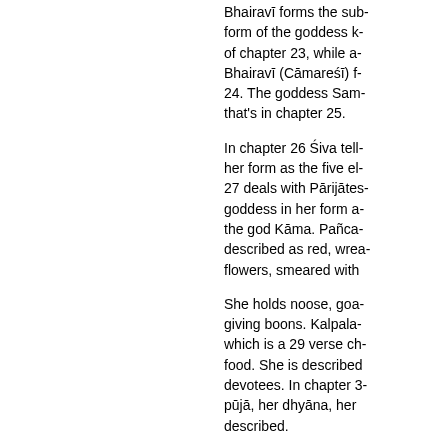Bhairavī forms the sub- form of the goddess k- of chapter 23, while a- Bhairavī (Cāmareśī) f- 24. The goddess Sam- that's in chapter 25.
In chapter 26 Śiva tell- her form as the five el- 27 deals with Pārijātes- goddess in her form a- the god Kāma. Pañca- described as red, wrea- flowers, smeared with
She holds noose, goa- giving boons. Kalpala- which is a 29 verse ch- food. She is described devotees. In chapter 3- pūjā, her dhyāna, her described.
Chapter 33 covers Bh- and in chapter 35 at s- Yantra. Vārāhī (also k- yantra can be inscribe- drawn on birch bark (b- saffron powder), aguru